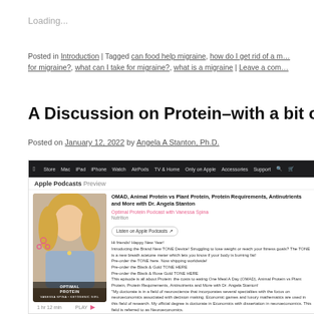Loading...
Posted in Introduction | Tagged can food help migraine, how do I get rid of a migraine, how do I prevent migraine, natural remedy for migraine?, what can I take for migraine?, what is a migraine | Leave a comment
A Discussion on Protein–with a bit of Mig…
Posted on January 12, 2022 by Angela A Stanton, Ph.D.
[Figure (screenshot): Screenshot of Apple Podcasts page showing episode 'OMAD, Animal Protein vs Plant Protein, Protein Requirements, Antinutrients and More with Dr. Angela Stanton' from Optimal Protein Podcast with Vanessa Spina. Includes podcast thumbnail image with blonde woman and 'Optimal Protein' branding, Listen on Apple Podcasts button, and episode description text.]